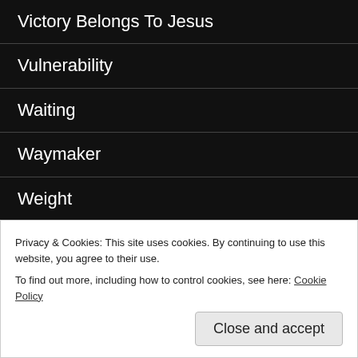Victory Belongs To Jesus
Vulnerability
Waiting
Waymaker
Weight
Whosoever Will
Wonderfully made
Word Of The Year
Worry
Privacy & Cookies: This site uses cookies. By continuing to use this website, you agree to their use. To find out more, including how to control cookies, see here: Cookie Policy
Close and accept